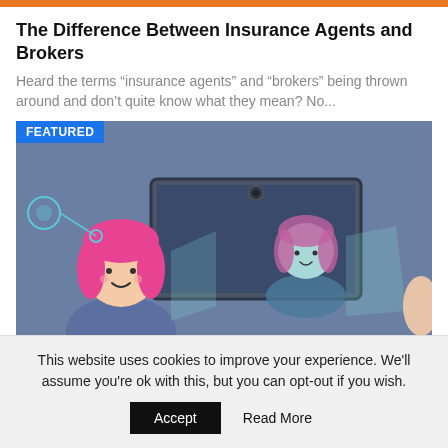The Difference Between Insurance Agents and Brokers
Heard the terms “insurance agents” and “brokers” being thrown around and don’t quite know what they mean? No...
[Figure (illustration): Featured illustration showing two cartoon women with pink hair, one real and one as a digital avatar on a screen, representing insurance agent vs broker concept. Has a 'FEATURED' badge in the top-left corner.]
This website uses cookies to improve your experience. We'll assume you're ok with this, but you can opt-out if you wish.